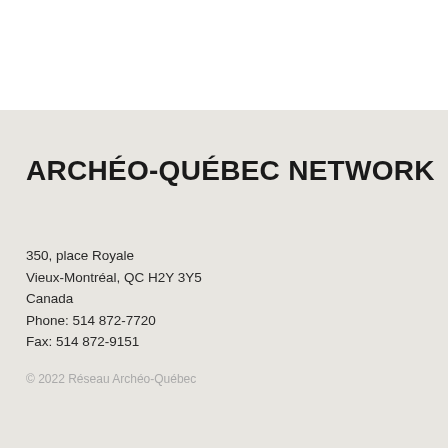ARCHÉO-QUÉBEC NETWORK
350, place Royale
Vieux-Montréal, QC H2Y 3Y5
Canada
Phone: 514 872-7720
Fax: 514 872-9151
© 2022 Réseau Archéo-Québec